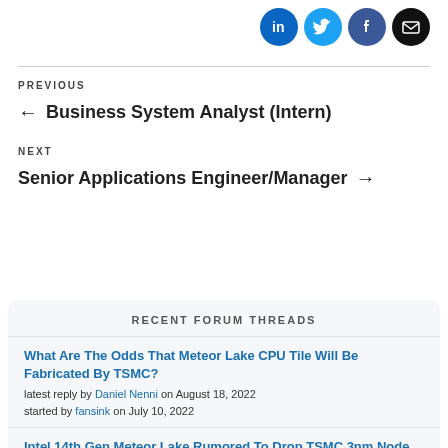[Figure (illustration): Social media share icons: LinkedIn (blue), Twitter (cyan), Facebook (dark blue), Email (black) — circular icon buttons in top right]
PREVIOUS
← Business System Analyst (Intern)
NEXT
Senior Applications Engineer/Manager →
RECENT FORUM THREADS
What Are The Odds That Meteor Lake CPU Tile Will Be Fabricated By TSMC?
latest reply by Daniel Nenni on August 18, 2022
started by fansink on July 10, 2022
Intel 14th Gen Meteor Lake Rumored To Drop TSMC 3nm Node For tCPU...